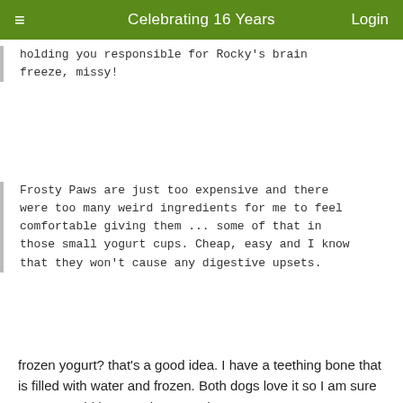Celebrating 16 Years
holding you responsible for Rocky's brain freeze, missy!
Frosty Paws are just too expensive and there were too many weird ingredients for me to feel comfortable giving them ... some of that in those small yogurt cups. Cheap, easy and I know that they won't cause any digestive upsets.
frozen yogurt? that's a good idea. I have a teething bone that is filled with water and frozen. Both dogs love it so I am sure yogurt would be even better to them.